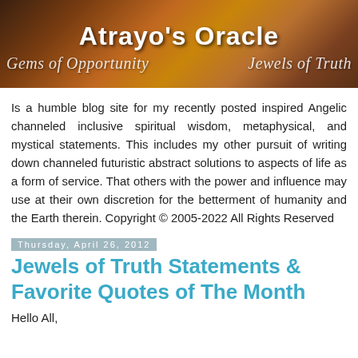[Figure (photo): Atrayo's Oracle blog banner image showing a treasure chest with beads/rosary, warm brown tones. Title 'Atrayo's Oracle' in white bold text centered at top. Subtitle 'Gems of Opportunity' on left and 'Jewels of Truth' on right in italic script style.]
Is a humble blog site for my recently posted inspired Angelic channeled inclusive spiritual wisdom, metaphysical, and mystical statements. This includes my other pursuit of writing down channeled futuristic abstract solutions to aspects of life as a form of service. That others with the power and influence may use at their own discretion for the betterment of humanity and the Earth therein. Copyright © 2005-2022 All Rights Reserved
Thursday, April 26, 2012
Jewels of Truth Statements & Favorite Quotes of The Month
Hello All,